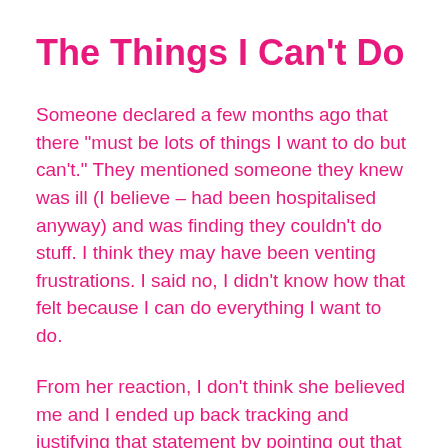The Things I Can't Do
Someone declared a few months ago that there “must be lots of things I want to do but can’t.” They mentioned someone they knew was ill (I believe – had been hospitalised anyway) and was finding they couldn’t do stuff. I think they may have been venting frustrations. I said no, I didn’t know how that felt because I can do everything I want to do.
From her reaction, I don’t think she believed me and I ended up back tracking and justifying that statement by pointing out that I’m lifelong disabled so I’ve never known any